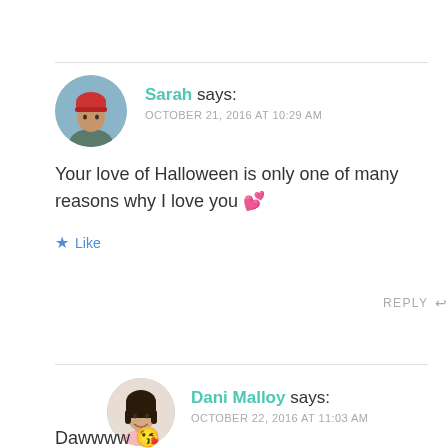Sarah says: OCTOBER 21, 2016 AT 10:29 AM
Your love of Halloween is only one of many reasons why I love you 💕
★ Like
REPLY ↩
Dani Malloy says: OCTOBER 22, 2016 AT 11:03 AM
Dawwww 😘